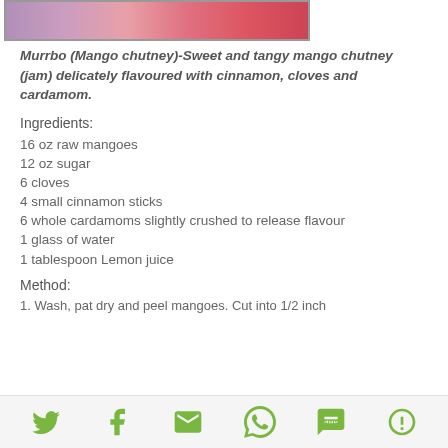[Figure (photo): Partial photo of colorful food items (mango chutney/jam) at top of page]
Murrbo (Mango chutney)-Sweet and tangy mango chutney (jam) delicately flavoured with cinnamon, cloves and cardamom.
Ingredients:
16 oz raw mangoes
12 oz sugar
6 cloves
4 small cinnamon sticks
6 whole cardamoms slightly crushed to release flavour
1 glass of water
1 tablespoon Lemon juice
Method:
1. Wash, pat dry and peel mangoes. Cut into 1/2 inch
Social share icons: Twitter, Facebook, Email, WhatsApp, SMS, More